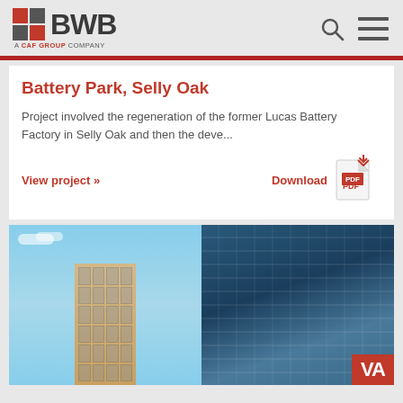[Figure (logo): BWB logo with red and grey grid squares, BWB text, 'A CAF GROUP COMPANY' tagline below]
Battery Park, Selly Oak
Project involved the regeneration of the former Lucas Battery Factory in Selly Oak and then the deve...
View project »    Download
[Figure (photo): Two photos side by side: left shows a tall modern building against blue sky; right shows a glass facade building with a red sign at bottom right]